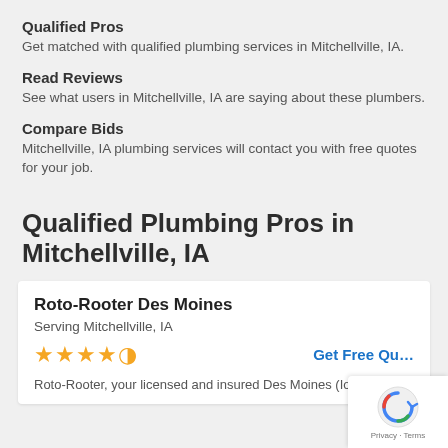Qualified Pros
Get matched with qualified plumbing services in Mitchellville, IA.
Read Reviews
See what users in Mitchellville, IA are saying about these plumbers.
Compare Bids
Mitchellville, IA plumbing services will contact you with free quotes for your job.
Qualified Plumbing Pros in Mitchellville, IA
Roto-Rooter Des Moines
Serving Mitchellville, IA
Get Free Quote
Roto-Rooter, your licensed and insured Des Moines (Iowa)